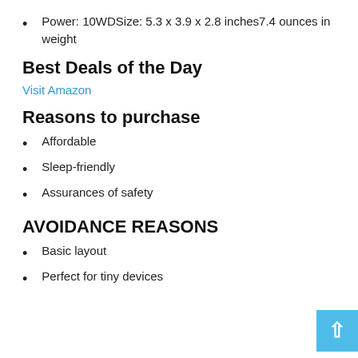Power: 10WDSize: 5.3 x 3.9 x 2.8 inches7.4 ounces in weight
Best Deals of the Day
Visit Amazon
Reasons to purchase
Affordable
Sleep-friendly
Assurances of safety
AVOIDANCE REASONS
Basic layout
Perfect for tiny devices